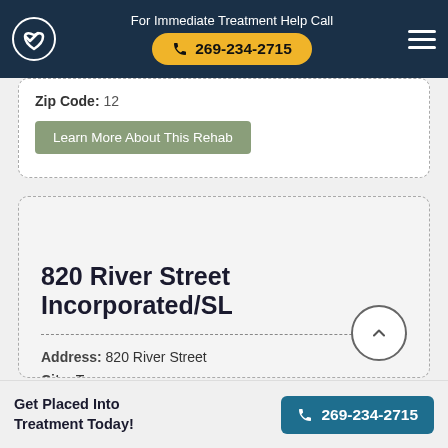For Immediate Treatment Help Call 269-234-2715
Zip Code: 12...
Learn More About This Rehab
820 River Street Incorporated/SL
Address: 820 River Street
City: Troy
State: NY
Zip Code: 12180
Get Placed Into Treatment Today!
269-234-2715